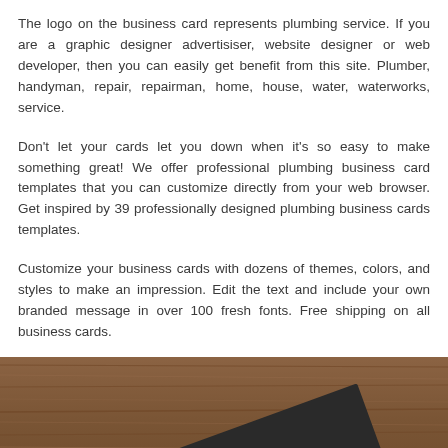The logo on the business card represents plumbing service. If you are a graphic designer advertisiser, website designer or web developer, then you can easily get benefit from this site. Plumber, handyman, repair, repairman, home, house, water, waterworks, service.
Don't let your cards let you down when it's so easy to make something great! We offer professional plumbing business card templates that you can customize directly from your web browser. Get inspired by 39 professionally designed plumbing business cards templates.
Customize your business cards with dozens of themes, colors, and styles to make an impression. Edit the text and include your own branded message in over 100 fresh fonts. Free shipping on all business cards.
[Figure (photo): A dark business card placed at an angle on a wooden surface (dark walnut wood grain texture). The bottom portion of the image is visible showing the wood background and the dark card.]